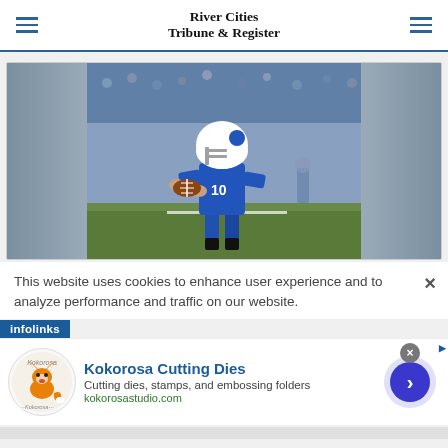River Cities Tribune & Register
[Figure (photo): Football player wearing blue jersey number 10, holding a football, in a ready stance on a football field with crowd in background]
This website uses cookies to enhance user experience and to analyze performance and traffic on our website.
[Figure (logo): Infolinks logo bar]
[Figure (infographic): Kokorosa Cutting Dies advertisement banner with fox logo. Text: Kokorosa Cutting Dies, Cutting dies, stamps, and embossing folders, kokorosastudio.com]